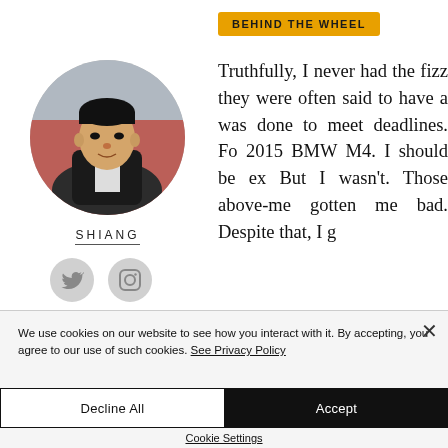BEHIND THE WHEEL
[Figure (photo): Circular author portrait photo of Shiang, a young man in a dark jacket leaning against a red car]
SHIANG
[Figure (illustration): Twitter and Instagram social media icons in gray circles]
Truthfully, I never had the fizz they were often said to have a was done to meet deadlines. Fo 2015 BMW M4. I should be ex But I wasn't. Those above-me gotten me bad. Despite that, I g
We use cookies on our website to see how you interact with it. By accepting, you agree to our use of such cookies. See Privacy Policy
Decline All
Accept
Cookie Settings